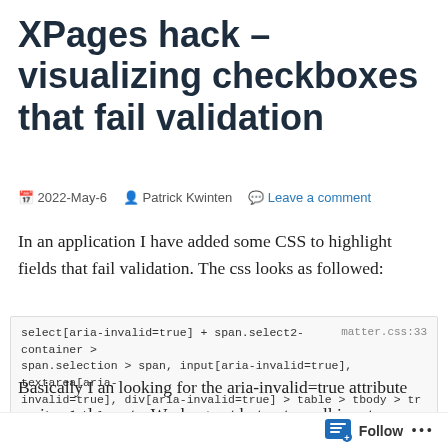XPages hack – visualizing checkboxes that fail validation
📅 2022-May-6  👤 Patrick Kwinten  💬 Leave a comment
In an application I have added some CSS to highlight fields that fail validation. The css looks as followed:
select[aria-invalid=true] + span.select2-container > span.selection > span, input[aria-invalid=true], textarea[aria-invalid=true], div[aria-invalid=true] > table > tbody > tr > td > label > input[type=radio] {
  background-color: #f2dede !important;
  border-color: #eed4d8 !important;
}
Basically I an looking for the aria-invalid=true attribute on input elements. Works great but not on all input